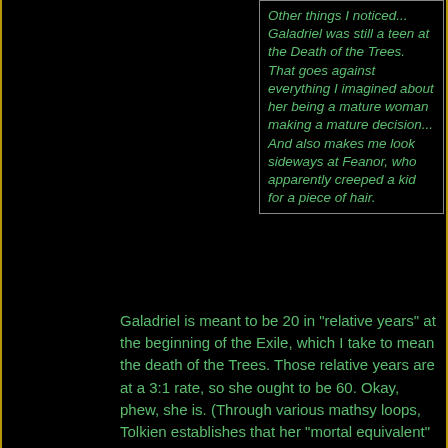Other things I noticed... Galadriel was still a teen at the Death of the Trees. That goes against everything I imagined about her being a mature woman making a mature decision... And also makes me look sideways at Feanor, who apparently creeped a kid for a piece of hair.
Galadriel is meant to be 20 in "relative years" at the beginning of the Exile, which I take to mean the death of the Trees. Those relative years are at a 3:1 rate, so she ought to be 60. Okay, phew, she is. (Through various mathsy loops, Tolkien establishes that her "mortal equivalent" age when she eventually sailed back to Aman... [continues]